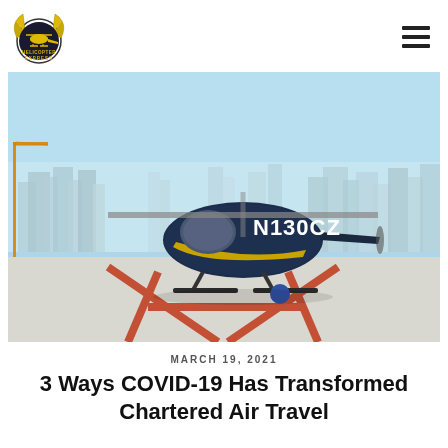[Figure (logo): Helicopter Express logo with eagle wings and helicopter graphic, text reading HELICOPTER EXPRESS in circular badge]
[Figure (photo): A dark blue helicopter marked N130CZ parked on a rooftop helipad with a red H marking, city skyline in background, clear blue sky]
MARCH 19, 2021
3 Ways COVID-19 Has Transformed Chartered Air Travel